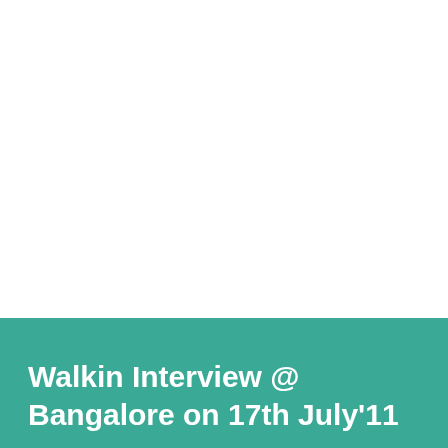Walkin Interview @ Bangalore on 17th July'11